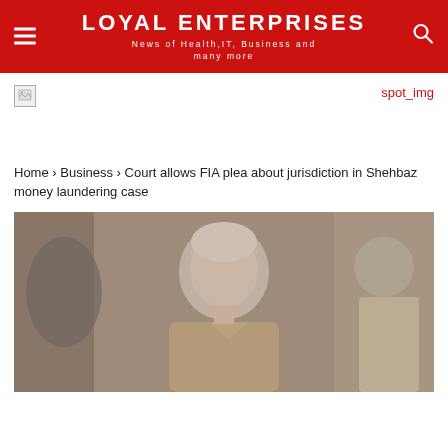LOYAL ENTERPRISES
News of Health,IT, Business and many more
[Figure (photo): Small broken/placeholder image icon on the left, red 'spot_img' text link on the right]
Home › Business › Court allows FIA plea about jurisdiction in Shehbaz money laundering case
[Figure (photo): Photograph of a grey-haired man in a tan/brown polo shirt, seated, with other individuals visible in the background]